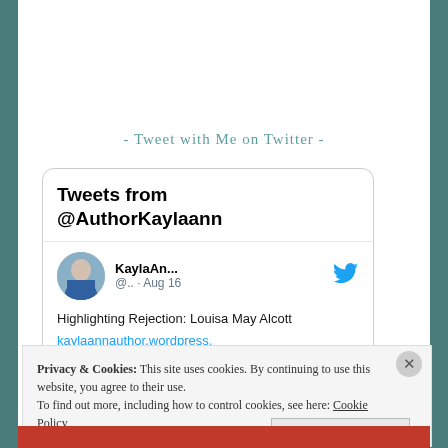- Tweet with Me on Twitter -
[Figure (screenshot): Twitter widget showing tweets from @AuthorKaylaann. A tweet by KaylaAn... @.. · Aug 16 reads: Highlighting Rejection: Louisa May Alcott kaylaannauthor.wordpress.com/2022/08/16/439...]
Privacy & Cookies: This site uses cookies. By continuing to use this website, you agree to their use.
To find out more, including how to control cookies, see here: Cookie Policy
Close and accept